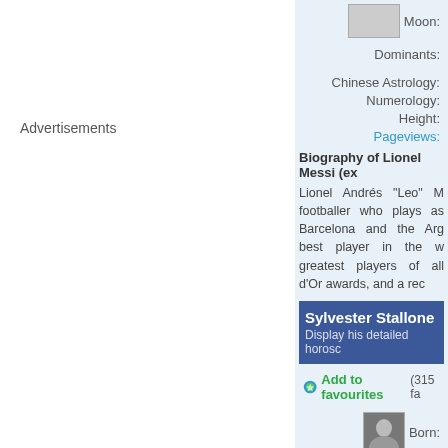Advertisements
Moon:
Dominants:
Chinese Astrology:
Numerology:
Height:
Pageviews:
Biography of Lionel Messi (ex
Lionel Andrés "Leo" M footballer who plays as Barcelona and the Arg best player in the w greatest players of all d'Or awards, and a rec
Sylvester Stallone
Display his detailed horosc
Add to favourites (315 fa
Born: